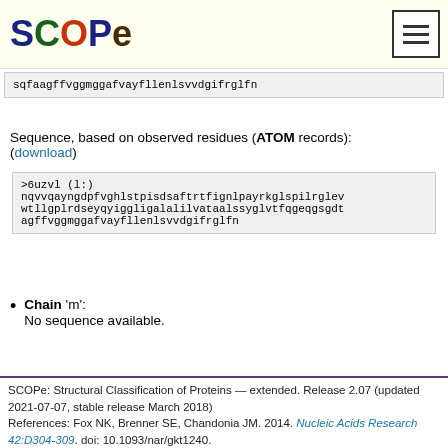SCOPe
sqfaagffvggmggafvayfllenlsvvdgifrglfn
Sequence, based on observed residues (ATOM records): (download)
>6uzvl (l:)
nqvvqayngdpfvghlstpisdsaftrtfignlpayrkglspilrglev wtllgplrdseyqyiggligalalilvataalssyglvtfqgeqgsgdt agffvggmggafvayfllenlsvvdgifrglfn
Chain 'm': No sequence available.
SCOPe: Structural Classification of Proteins — extended. Release 2.07 (updated 2021-07-07, stable release March 2018) References: Fox NK, Brenner SE, Chandonia JM. 2014. Nucleic Acids Research 42:D304-309. doi: 10.1093/nar/gkt1240. Chandonia JM, Guan L, Lin S, Yu C, Fox NK, Brenner SE. 2022. Nucleic